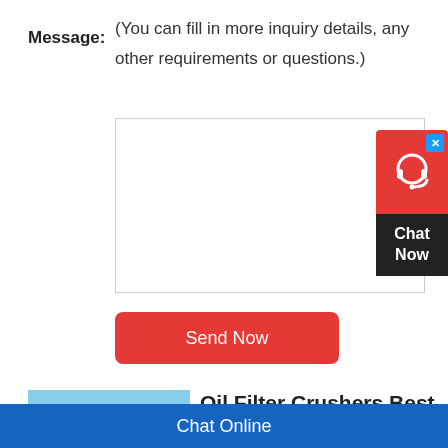Message:
(You can fill in more inquiry details, any other requirements or questions.)
[Figure (other): Empty textarea input box for user message]
[Figure (other): Send Now red button]
[Figure (other): Chat Now widget with red top section showing headset icon and blue X close button, and dark bottom with Chat Now text]
[Figure (photo): Photo of a blue industrial mobile crusher/mining machine on a road with sandy terrain in background]
Oil Filter Crushers Best
Oil Filter Crushers Oil filter crushers save money and keep your space clean, and not waste oil filters. percent of the oil, which reduces the
Chat Online